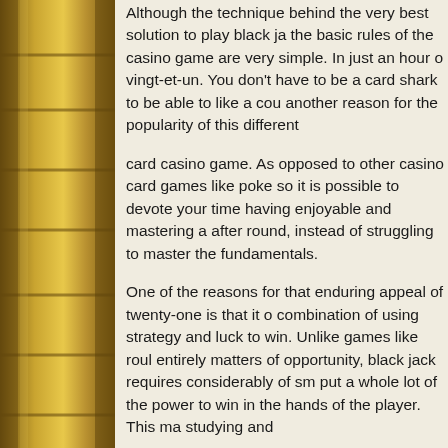Although the technique behind the very best solution to play black jack, the basic rules of the casino game are very simple. In just an hour or vingt-et-un. You don't have to be a card shark to be able to like a cou another reason for the popularity of this different
card casino game. As opposed to other casino card games like poke so it is possible to devote your time having enjoyable and mastering a after round, instead of struggling to master the fundamentals.
One of the reasons for that enduring appeal of twenty-one is that it o combination of using strategy and luck to win. Unlike games like roul entirely matters of opportunity, black jack requires considerably of sm put a whole lot of the power to win in the hands of the player. This ma studying and
understanding about, because as you discover new strategies you m accomplishment. Black jack fans are constantly on the lookout for ne because how you bet on determines irrespective of whether or not yo knowing when to double down can assist you achieve achievement a
time and time again.
Even so, part of the reason why twenty-one is so much entertaining i sure that you'll hit the jackpot. Black-jack is also to a number of exter